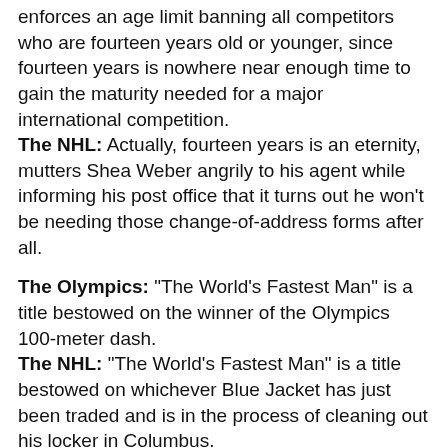enforces an age limit banning all competitors who are fourteen years old or younger, since fourteen years is nowhere near enough time to gain the maturity needed for a major international competition.
The NHL: Actually, fourteen years is an eternity, mutters Shea Weber angrily to his agent while informing his post office that it turns out he won't be needing those change-of-address forms after all.
The Olympics: "The World's Fastest Man" is a title bestowed on the winner of the Olympics 100-meter dash.
The NHL: "The World's Fastest Man" is a title bestowed on whichever Blue Jacket has just been traded and is in the process of cleaning out his locker in Columbus.
The Olympics: We are constantly reminded that there is no more pressure-filled situation than having an Olympic competition come down to one single winner-take-all event, in which the eyes of the entire world focus on your every move and even the slightest mistake can make the difference between a crushing defeat and a career-defining gold medal win.
The NHL: Unless of course you're Roberto Luongo, in which